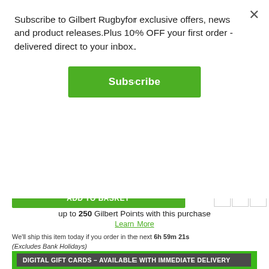Subscribe to Gilbert Rugbyfor exclusive offers, news and product releases.Plus 10% OFF your first order - delivered direct to your inbox.
Subscribe
up to 250 Gilbert Points with this purchase
Learn More
We'll ship this item today if you order in the next 6h 59m 21s
(Excludes Bank Holidays)
[Figure (infographic): Digital gift cards banner with green border and dark grey background, white bold text reading: DIGITAL GIFT CARDS - AVAILABLE WITH IMMEDIATE DELIVERY]